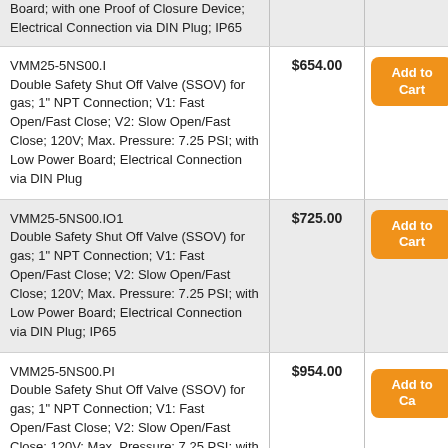| Product Description | Price | Action |
| --- | --- | --- |
| Board; with one Proof of Closure Device; Electrical Connection via DIN Plug; IP65 |  |  |
| VMM25-5NS00.I
Double Safety Shut Off Valve (SSOV) for gas; 1" NPT Connection; V1: Fast Open/Fast Close; V2: Slow Open/Fast Close; 120V; Max. Pressure: 7.25 PSI; with Low Power Board; Electrical Connection via DIN Plug | $654.00 | Add to Cart |
| VMM25-5NS00.IO1
Double Safety Shut Off Valve (SSOV) for gas; 1" NPT Connection; V1: Fast Open/Fast Close; V2: Slow Open/Fast Close; 120V; Max. Pressure: 7.25 PSI; with Low Power Board; Electrical Connection via DIN Plug; IP65 | $725.00 | Add to Cart |
| VMM25-5NS00.PI
Double Safety Shut Off Valve (SSOV) for gas; 1" NPT Connection; V1: Fast Open/Fast Close; V2: Slow Open/Fast Close; 120V; Max. Pressure: 7.25 PSI; with Low Power Board; with one Proof of Closure Device; Electrical Connection via DIN | $954.00 | Add to Cart |